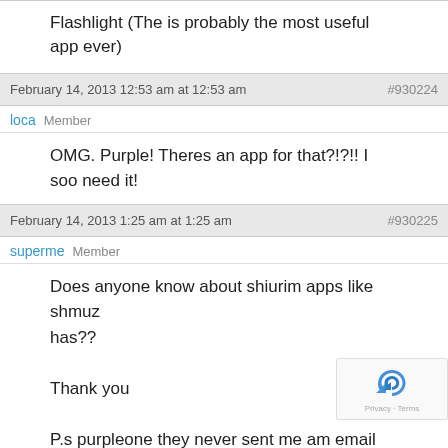Flashlight (The is probably the most useful app ever)
February 14, 2013 12:53 am at 12:53 am  #930224
loca  Member
OMG. Purple! Theres an app for that?!?!! I soo need it!
February 14, 2013 1:25 am at 1:25 am  #930225
superme  Member
Does anyone know about shiurim apps like shmuz has??

Thank you

P.s purpleone they never sent me am email with the number and name of person.